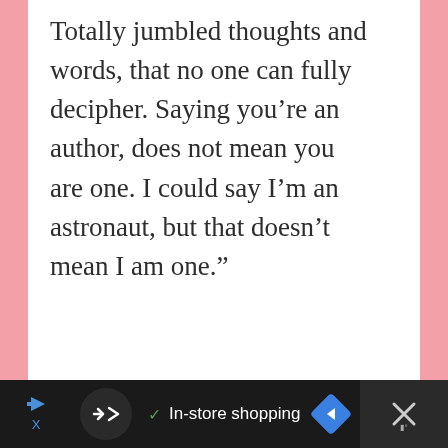Totally jumbled thoughts and words, that no one can fully decipher. Saying you're an author, does not mean you are one. I could say I'm an astronaut, but that doesn't mean I am one.”
[Figure (other): Empty light gray placeholder box with three dots at the bottom indicating a carousel or slideshow]
[Figure (other): Ad bar at the bottom showing a dark background with a circular icon, checkmark, 'In-store shopping' text, navigation arrow diamond icon, and close X button]